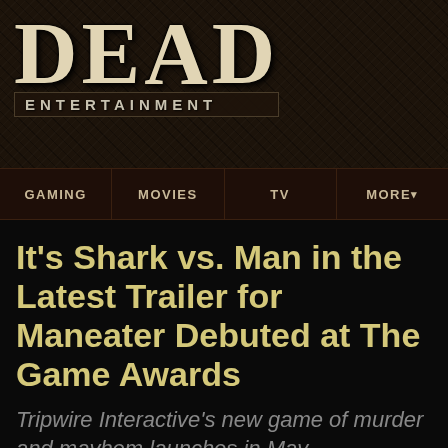[Figure (logo): Dead Entertainment logo — large distressed 'DEAD' text above 'ENTERTAINMENT' in a dark textured banner header]
GAMING  MOVIES  TV  MORE
It's Shark vs. Man in the Latest Trailer for Maneater Debuted at The Game Awards
Tripwire Interactive's new game of murder and mayhem launches in May.
By Chris Morse